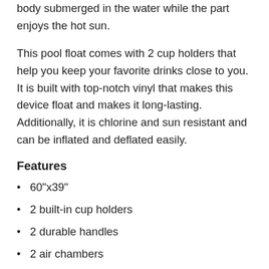part about this product is that it keeps your lower body submerged in the water while the part enjoys the hot sun.
This pool float comes with 2 cup holders that help you keep your favorite drinks close to you. It is built with top-notch vinyl that makes this device float and makes it long-lasting. Additionally, it is chlorine and sun resistant and can be inflated and deflated easily.
Features
60"x39"
2 built-in cup holders
2 durable handles
2 air chambers